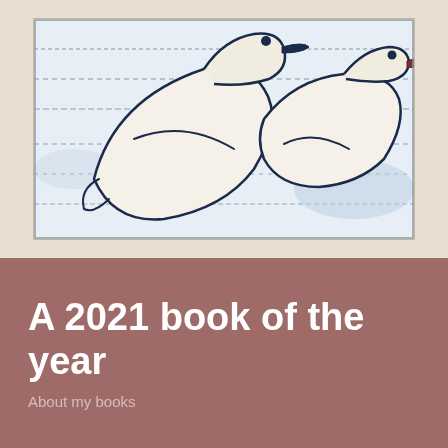[Figure (illustration): Etching-style illustration of two white birds (doves/gulls) rendered in dark navy blue outlines on a light background, with horizontal line textures suggesting water or a horizon. The birds face left and right respectively.]
A 2021 book of the year
About my books